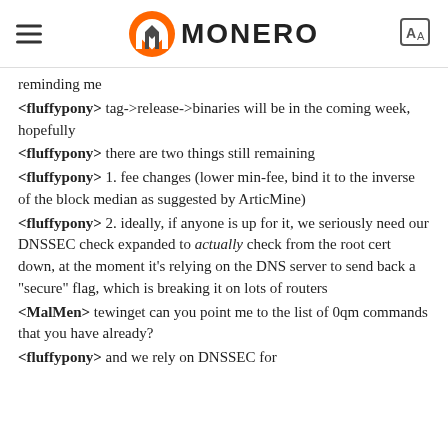MONERO
reminding me
<fluffypony> tag->release->binaries will be in the coming week, hopefully
<fluffypony> there are two things still remaining
<fluffypony> 1. fee changes (lower min-fee, bind it to the inverse of the block median as suggested by ArticMine)
<fluffypony> 2. ideally, if anyone is up for it, we seriously need our DNSSEC check expanded to actually check from the root cert down, at the moment it's relying on the DNS server to send back a "secure" flag, which is breaking it on lots of routers
<MalMen> tewinget can you point me to the list of 0qm commands that you have already?
<fluffypony> and we rely on DNSSEC for